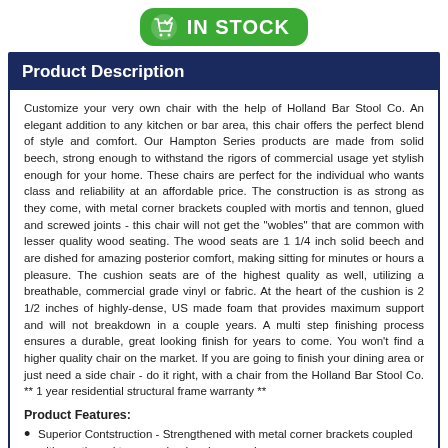[Figure (logo): Green rounded rectangle badge with shopping cart checkmark icon and white bold text 'IN STOCK']
Product Description
Customize your very own chair with the help of Holland Bar Stool Co. An elegant addition to any kitchen or bar area, this chair offers the perfect blend of style and comfort. Our Hampton Series products are made from solid beech, strong enough to withstand the rigors of commercial usage yet stylish enough for your home. These chairs are perfect for the individual who wants class and reliability at an affordable price. The construction is as strong as they come, with metal corner brackets coupled with mortis and tennon, glued and screwed joints - this chair will not get the "wobles" that are common with lesser quality wood seating. The wood seats are 1 1/4 inch solid beech and are dished for amazing posterior comfort, making sitting for minutes or hours a pleasure. The cushion seats are of the highest quality as well, utilizing a breathable, commercial grade vinyl or fabric. At the heart of the cushion is 2 1/2 inches of highly-dense, US made foam that provides maximum support and will not breakdown in a couple years. A multi step finishing process ensures a durable, great looking finish for years to come. You won't find a higher quality chair on the market. If you are going to finish your dining area or just need a side chair - do it right, with a chair from the Holland Bar Stool Co. ** 1 year residential structural frame warranty **
Product Features:
Superior Contstruction - Strengthened with metal corner brackets coupled with mortis and tennon, glued and screwed